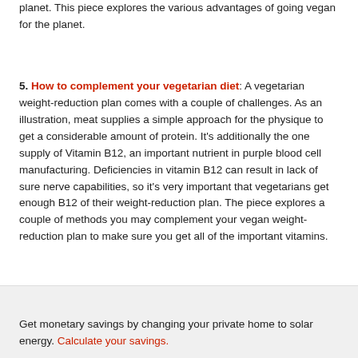planet. This piece explores the various advantages of going vegan for the planet.
5. How to complement your vegetarian diet: A vegetarian weight-reduction plan comes with a couple of challenges. As an illustration, meat supplies a simple approach for the physique to get a considerable amount of protein. It's additionally the one supply of Vitamin B12, an important nutrient in purple blood cell manufacturing. Deficiencies in vitamin B12 can result in lack of sure nerve capabilities, so it's very important that vegetarians get enough B12 of their weight-reduction plan. The piece explores a couple of methods you may complement your vegan weight-reduction plan to make sure you get all of the important vitamins.
Get monetary savings by changing your private home to solar energy. Calculate your savings.